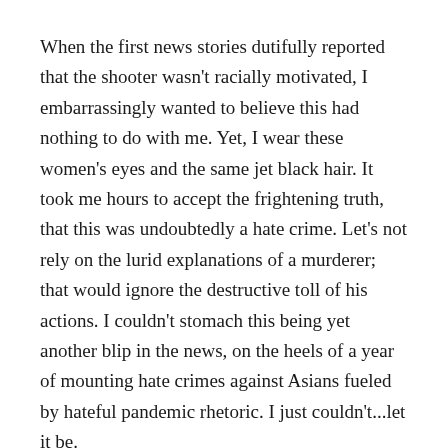When the first news stories dutifully reported that the shooter wasn't racially motivated, I embarrassingly wanted to believe this had nothing to do with me. Yet, I wear these women's eyes and the same jet black hair. It took me hours to accept the frightening truth, that this was undoubtedly a hate crime. Let's not rely on the lurid explanations of a murderer; that would ignore the destructive toll of his actions. I couldn't stomach this being yet another blip in the news, on the heels of a year of mounting hate crimes against Asians fueled by hateful pandemic rhetoric. I just couldn't...let it be.
Invisible cuts
When my mom tells the story about the convenience store, she focuses on the heroic ending. She emphasizes